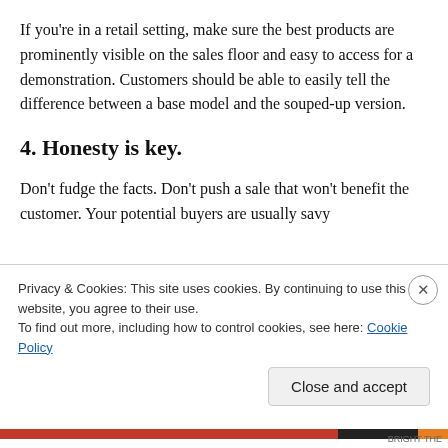If you're in a retail setting, make sure the best products are prominently visible on the sales floor and easy to access for a demonstration. Customers should be able to easily tell the difference between a base model and the souped-up version.
4. Honesty is key.
Don't fudge the facts. Don't push a sale that won't benefit the customer. Your potential buyers are usually savy...
Privacy & Cookies: This site uses cookies. By continuing to use this website, you agree to their use.
To find out more, including how to control cookies, see here: Cookie Policy